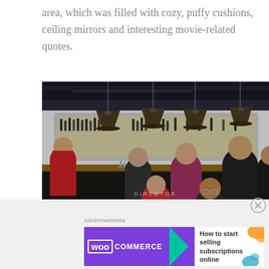area, which was filled with cozy, puffy cushions, ceiling mirrors and interesting movie-related quotes.
[Figure (photo): Interior of a bar/restaurant with people sitting at a counter, illuminated shelves with bottles in the background, and pendant lights hanging from the ceiling. Watermarks read 'DIRECTOR' and 'ERISGOESTO'.]
Advertisements
[Figure (logo): WooCommerce advertisement banner: 'How to start selling subscriptions online']